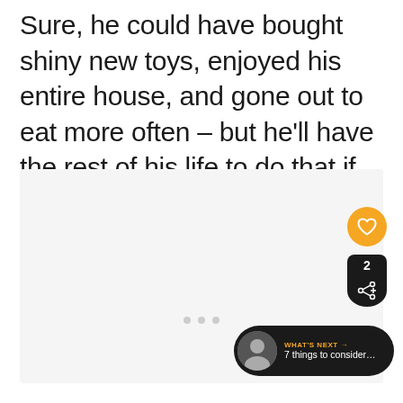Sure, he could have bought shiny new toys, enjoyed his entire house, and gone out to eat more often – but he'll have the rest of his life to do that if he chooses.
[Figure (screenshot): A light gray content area placeholder with UI overlay elements: an orange heart/like button, a dark share button with count '2', a 'What's Next' banner showing '7 things to consider...' with a thumbnail image, and three dot pagination indicators.]